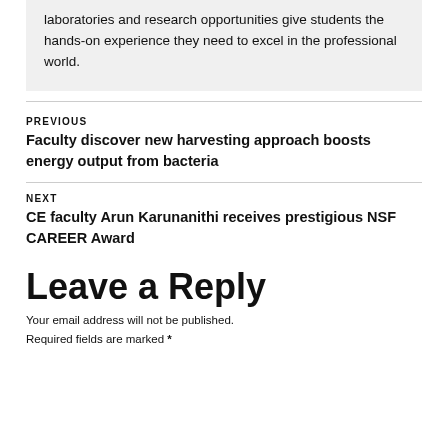laboratories and research opportunities give students the hands-on experience they need to excel in the professional world.
PREVIOUS
Faculty discover new harvesting approach boosts energy output from bacteria
NEXT
CE faculty Arun Karunanithi receives prestigious NSF CAREER Award
Leave a Reply
Your email address will not be published.
Required fields are marked *